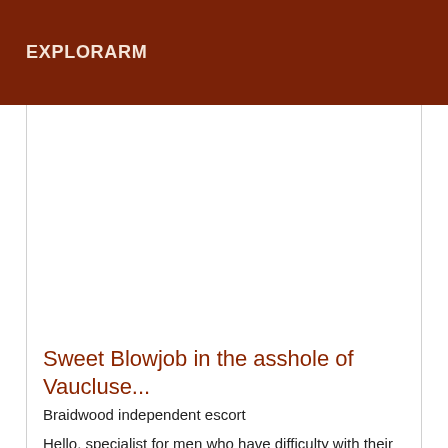EXPLORARM
Sweet Blowjob in the asshole of Vaucluse...
Braidwood independent escort
Hello, specialist for men who have difficulty with their